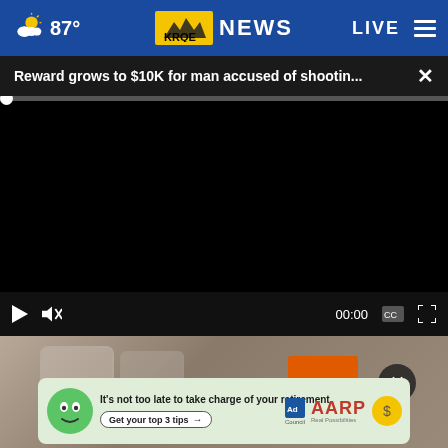87° KRQE NEWS LIVE
Reward grows to $10K for man accused of shootin...
[Figure (screenshot): Black video player area with playback controls showing 00:00 timestamp, play button, mute button, captions icon, and fullscreen icon. Progress bar at top with white dot at left edge.]
[Figure (photo): Thumbnail image showing jars and a box of Arm & Hammer Baking Soda]
[Figure (other): AARP Ad Council advertisement: green mascot face on left, text reading 'It’s not too late to take charge of your retirement. Get your top 3 tips' with Ad Council and AARP logos and coin icon on right]